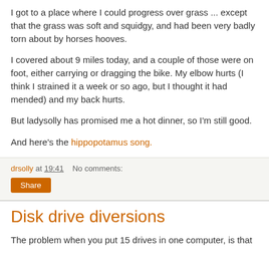I got to a place where I could progress over grass ... except that the grass was soft and squidgy, and had been very badly torn about by horses hooves.
I covered about 9 miles today, and a couple of those were on foot, either carrying or dragging the bike. My elbow hurts (I think I strained it a week or so ago, but I thought it had mended) and my back hurts.
But ladysolly has promised me a hot dinner, so I'm still good.
And here's the hippopotamus song.
drsolly at 19:41   No comments:
Share
Disk drive diversions
The problem when you put 15 drives in one computer, is that